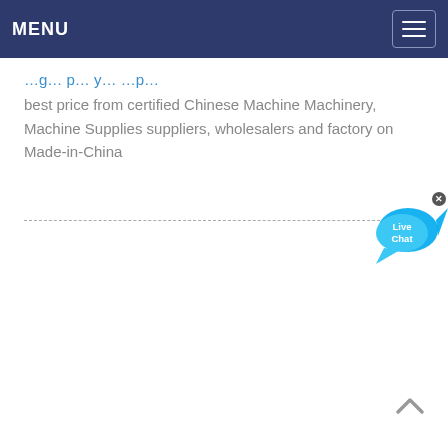MENU
best price from certified Chinese Machine Machinery, Machine Supplies suppliers, wholesalers and factory on Made-in-China
[Figure (illustration): Live Chat widget button with speech bubble in cyan/blue color and an X close button]
[Figure (illustration): Back to top chevron arrow button at bottom right]